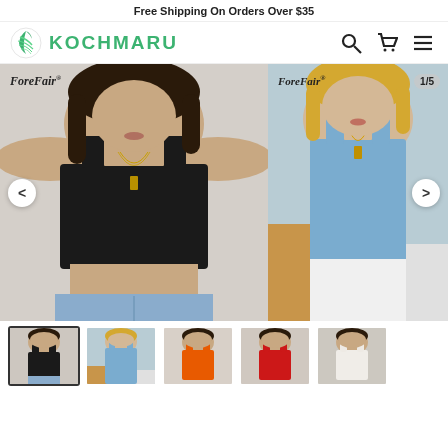Free Shipping On Orders Over $35
[Figure (logo): Kochimaru brand logo with green swirl icon and green uppercase text KOCHMARU, plus search, cart, and hamburger menu icons]
[Figure (photo): Main product photo: woman wearing black square-neck crop top with layered gold necklaces, paired with light denim jeans. ForeFair brand label in top-left corner. Left carousel navigation arrow visible.]
[Figure (photo): Side product photo: woman wearing light blue square-neck tank top with gold necklace. ForeFair brand label in top-left corner. Image counter 1/5 in top-right. Right carousel navigation arrow visible.]
[Figure (photo): Thumbnail row showing 5 product color variants: black crop top (selected/active), light blue, orange, red, and white versions of the same crop top style.]